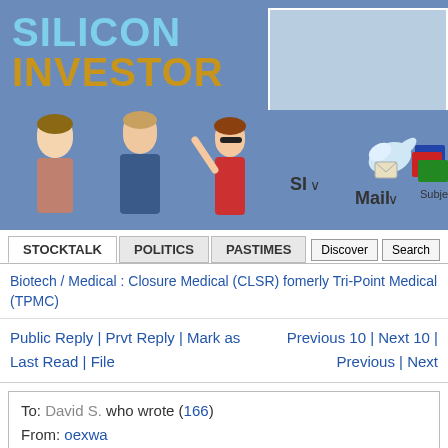[Figure (screenshot): Silicon Investor website header banner with logo, character illustrations, and navigation icons for SI, Mail, SubjectM]
SILICON INVESTOR
STOCKTALK | POLITICS | PASTIMES | Discover | Search
Biotech / Medical : Closure Medical (CLSR) fomerly Tri-Point Medical (TPMC)
Public Reply | Prvt Reply | Mark as Last Read | File
Previous 10 | Next 10 | Previous | Next
To: David S. who wrote (166)
From: oexwa